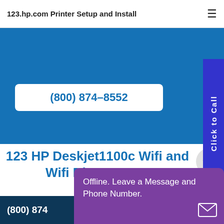123.hp.com Printer Setup and Install
(800) 874-8552
Click to Call
123 HP Deskjet1100c Wifi and Wifi Direct Setup
123 HP De...
(800) 874...
Offline. Leave a Message and Phone Number.